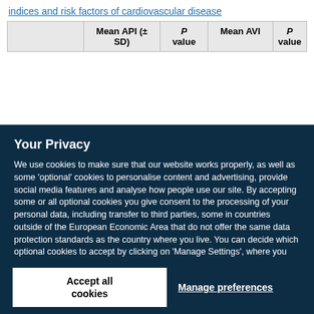indices and risk factors of cardiovascular disease
|  | Mean API (± SD) | P value | Mean AVI | P value |
| --- | --- | --- | --- | --- |
Your Privacy
We use cookies to make sure that our website works properly, as well as some 'optional' cookies to personalise content and advertising, provide social media features and analyse how people use our site. By accepting some or all optional cookies you give consent to the processing of your personal data, including transfer to third parties, some in countries outside of the European Economic Area that do not offer the same data protection standards as the country where you live. You can decide which optional cookies to accept by clicking on 'Manage Settings', where you can also find more information about how your personal data is processed. Further information can be found in our privacy policy.
Accept all cookies
Manage preferences